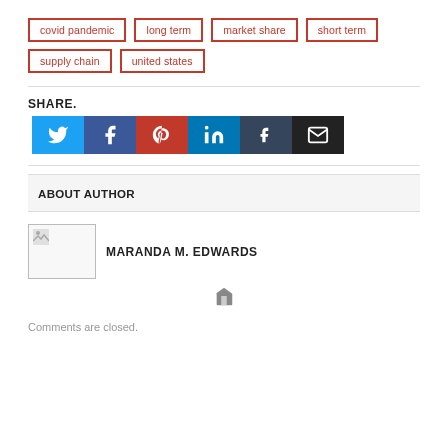covid pandemic
long term
market share
short term
supply chain
united states
SHARE.
[Figure (infographic): Social share buttons: Twitter, Facebook, Pinterest, LinkedIn, Tumblr, Email]
ABOUT AUTHOR
MARANDA M. EDWARDS
Comments are closed.